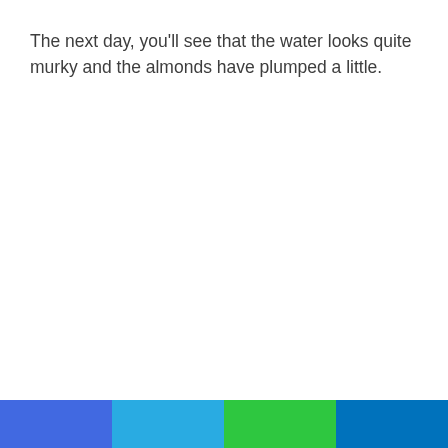The next day, you'll see that the water looks quite murky and the almonds have plumped a little.
[Figure (other): Color bar footer with four colored rectangles: blue, light blue, green, dark blue]